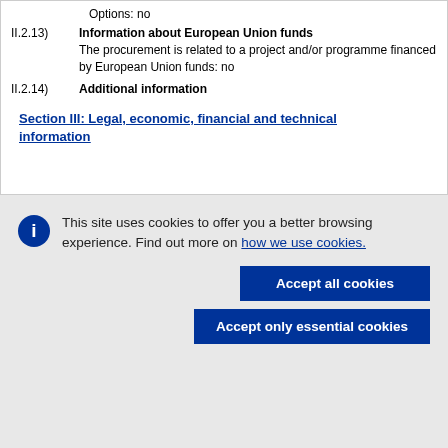Options: no
II.2.13) Information about European Union funds
The procurement is related to a project and/or programme financed by European Union funds: no
II.2.14) Additional information
Section III: Legal, economic, financial and technical information
This site uses cookies to offer you a better browsing experience. Find out more on how we use cookies.